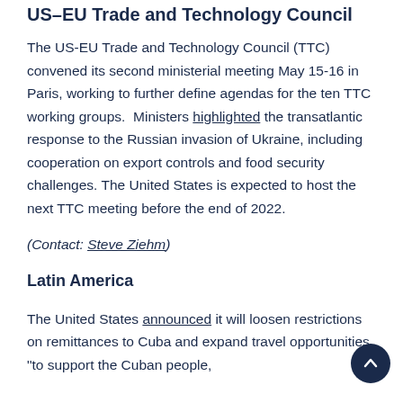US-EU Trade and Technology Council
The US-EU Trade and Technology Council (TTC) convened its second ministerial meeting May 15-16 in Paris, working to further define agendas for the ten TTC working groups. Ministers highlighted the transatlantic response to the Russian invasion of Ukraine, including cooperation on export controls and food security challenges. The United States is expected to host the next TTC meeting before the end of 2022.
(Contact: Steve Ziehm)
Latin America
The United States announced it will loosen restrictions on remittances to Cuba and expand travel opportunities "to support the Cuban people,